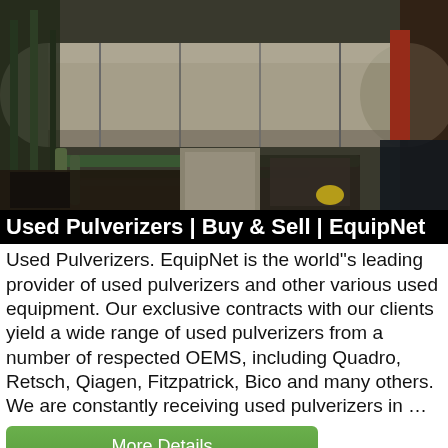[Figure (photo): Industrial facility with large cylindrical horizontal rotary drum/kiln and associated piping, conveyors, structural steel and equipment in a factory setting]
Used Pulverizers | Buy & Sell | EquipNet
Used Pulverizers. EquipNet is the world''s leading provider of used pulverizers and other various used equipment. Our exclusive contracts with our clients yield a wide range of used pulverizers from a number of respected OEMS, including Quadro, Retsch, Qiagen, Fitzpatrick, Bico and many others. We are constantly receiving used pulverizers in …
[Figure (other): More Details button — green rounded rectangle]
[Figure (photo): Gray/dark textured industrial surface, partial view at bottom of page; blue chat bubble with ellipsis icon in bottom right corner]